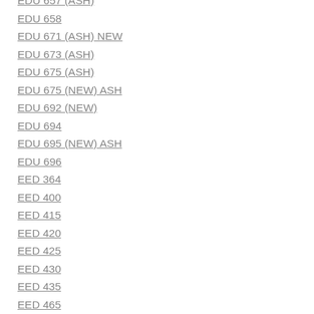EDU 657 (ASH)
EDU 658
EDU 671 (ASH) NEW
EDU 673 (ASH)
EDU 675 (ASH)
EDU 675 (NEW) ASH
EDU 692 (NEW)
EDU 694
EDU 695 (NEW) ASH
EDU 696
EED 364
EED 400
EED 415
EED 420
EED 425
EED 430
EED 435
EED 465